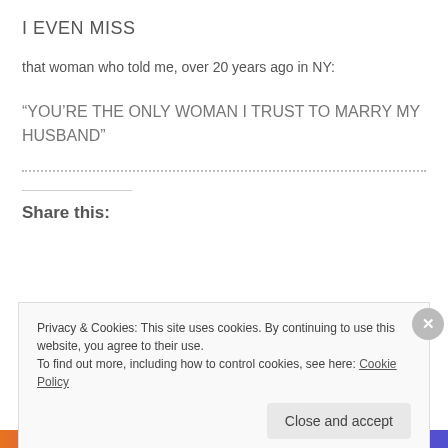I EVEN MISS
that woman who told me, over 20 years ago in NY:
“YOU’RE THE ONLY WOMAN I TRUST TO MARRY MY HUSBAND”
Share this:
Privacy & Cookies: This site uses cookies. By continuing to use this website, you agree to their use.
To find out more, including how to control cookies, see here: Cookie Policy
Close and accept